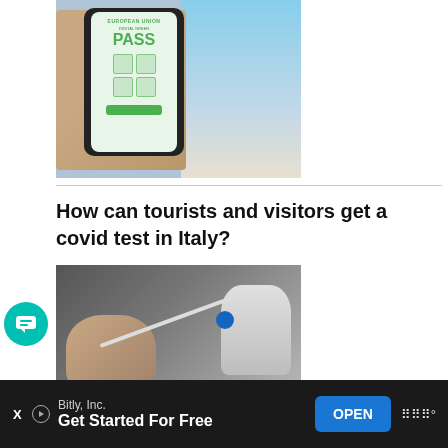[Figure (photo): A hand holding a smartphone displaying 'European Union Digital Green Pass' app with QR codes, against a blurred European building background]
How can tourists and visitors get a covid test in Italy?
[Figure (photo): A child receiving a nasal swab COVID test administered by a gloved healthcare worker]
[Figure (other): Green circular chat button overlay on left side]
Bitly, Inc.
Get Started For Free
OPEN